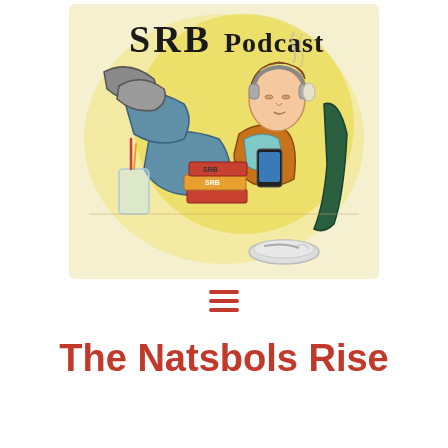[Figure (illustration): SRB Podcast logo illustration: a person reclining with feet up, wearing headphones, holding a phone, with stacks of books labeled SRB, a glass with a pencil, and an ashtray. Text 'SRB Podcast' in bold hand-lettered style on a yellow/cream watercolor background.]
[Figure (other): Hamburger menu icon consisting of three horizontal red lines stacked vertically, centered on the page.]
The Natsbols Rise